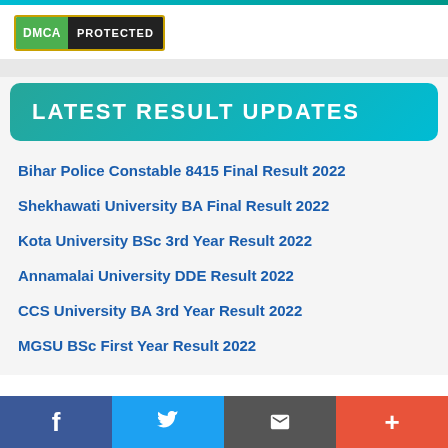[Figure (logo): DMCA Protected badge with green DMCA label and black PROTECTED label]
LATEST RESULT UPDATES
Bihar Police Constable 8415 Final Result 2022
Shekhawati University BA Final Result 2022
Kota University BSc 3rd Year Result 2022
Annamalai University DDE Result 2022
CCS University BA 3rd Year Result 2022
MGSU BSc First Year Result 2022
f  Twitter  Email  +